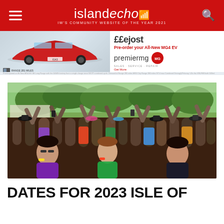islandecho — IW's COMMUNITY WEBSITE OF THE YEAR 2021
[Figure (photo): Advertisement for Premier MG showing a red MG4 EV car. Text reads: Pre-order your All-New MG4 EV. Premier MG. RANGE 281 MILES.]
[Figure (photo): Crowd of festival-goers with arms raised at an outdoor music festival on a sunny day, trees visible in background.]
DATES FOR 2023 ISLE OF